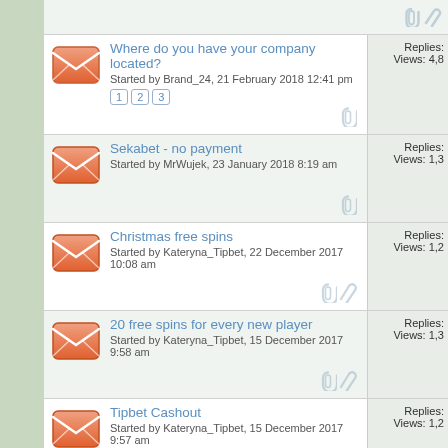Where do you have your company located? Started by Brand_24, 21 February 2018 12:41 pm | Replies: Views: 4,8
Sekabet - no payment Started by MrWujek, 23 January 2018 8:19 am | Replies: Views: 1,3
Christmas free spins Started by Kateryna_Tipbet, 22 December 2017 10:08 am | Replies: Views: 1,2
20 free spins for every new player Started by Kateryna_Tipbet, 15 December 2017 9:58 am | Replies: Views: 1,3
Tipbet Cashout Started by Kateryna_Tipbet, 15 December 2017 9:57 am | Replies: Views: 1,2
Tipbet's Christmas Cashback Started by Kateryna_Tipbet, 4 December 2017 8:06 | Replies: Views: 1,1